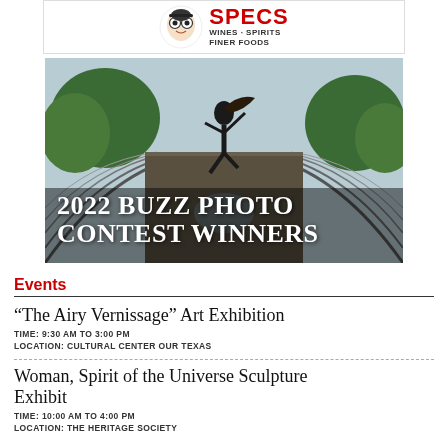[Figure (logo): SPECS Wines Spirits Finer Foods advertisement banner with cartoon mascot logo]
[Figure (photo): Dancer jumping on a bridge with trees in background, overlaid with text '2022 BUZZ PHOTO CONTEST WINNERS']
Events
“The Airy Vernissage” Art Exhibition
TIME: 9:30 AM TO 3:00 PM
LOCATION: CULTURAL CENTER OUR TEXAS
Woman, Spirit of the Universe Sculpture Exhibit
TIME: 10:00 AM TO 4:00 PM
LOCATION: THE HERITAGE SOCIETY